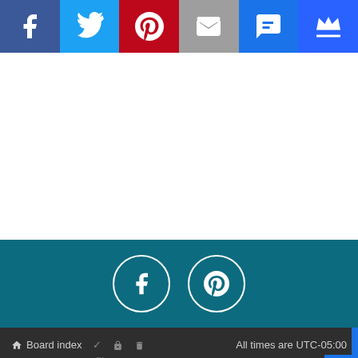[Figure (infographic): Social media share buttons bar: Facebook (dark blue), Twitter (light blue), Pinterest (red), Email/Mail (grey), SMS (blue), Crown/other (dark blue)]
[Figure (infographic): Teal footer section with two circular outlined icons: Facebook (f) and Pinterest (p)]
Board index   ✓  🔒  🗑   All times are UTC-05:00
Powered by phpBB™